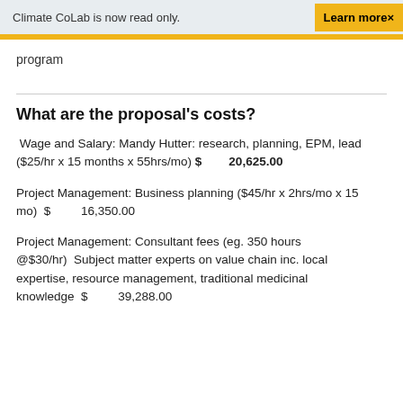Climate CoLab is now read only.  Learn more×
program
What are the proposal's costs?
Wage and Salary: Mandy Hutter: research, planning, EPM, lead ($25/hr x 15 months x 55hrs/mo) $ 20,625.00
Project Management: Business planning ($45/hr x 2hrs/mo x 15 mo)  $         16,350.00
Project Management: Consultant fees (eg. 350 hours @$30/hr)  Subject matter experts on value chain inc. local expertise, resource management, traditional medicinal knowledge  $         39,288.00